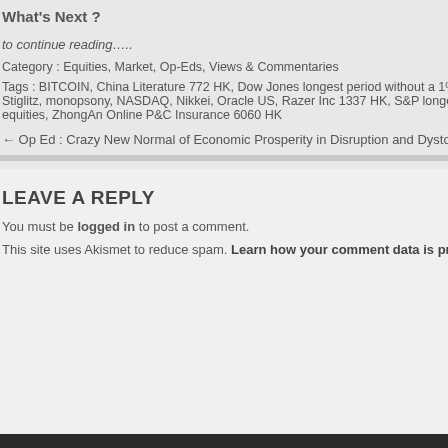What's Next ?
to continue reading…..
Category : Equities, Market, Op-Eds, Views & Commentaries
Tags : BITCOIN, China Literature 772 HK, Dow Jones longest period without a 1% in Stiglitz, monopsony, NASDAQ, Nikkei, Oracle US, Razer Inc 1337 HK, S&P longest s equities, ZhongAn Online P&C Insurance 6060 HK
← Op Ed : Crazy New Normal of Economic Prosperity in Disruption and Dysto
LEAVE A REPLY
You must be logged in to post a comment.
This site uses Akismet to reduce spam. Learn how your comment data is proc